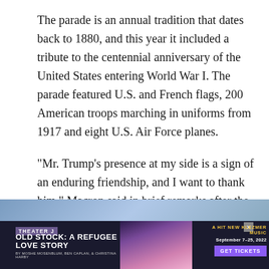The parade is an annual tradition that dates back to 1880, and this year it included a tribute to the centennial anniversary of the United States entering World War I. The parade featured U.S. and French flags, 200 American troops marching in uniforms from 1917 and eight U.S. Air Force planes.
“Mr. Trump’s presence at my side is a sign of an enduring friendship, and I want to thank him,” Macron said in brief remarks after the parade. “Nothing can ever separate us. . . . I want to thank America for the choice made 100 years ago.”
[Figure (photo): Advertisement banner for Theater J: Old Stock: A Refugee Love Story. Shows a performer with pink hair and a hat. Text includes 'A Hit New Klezmer Musical', 'September 7-25, 2022', and a 'Get Tickets' button.]